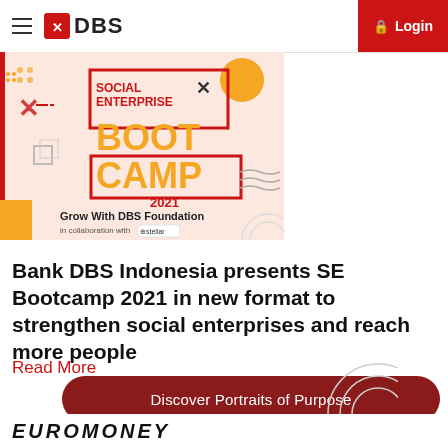DBS Login
[Figure (illustration): Social Enterprise Bootcamp 2021 banner — Grow With DBS Foundation, in collaboration with Cstellar. Features bold orange and red text on a pink/white geometric background.]
Bank DBS Indonesia presents SE Bootcamp 2021 in new format to strengthen social enterprises and reach more people
Read More
Discover Portraits of Purpose
EUROMONEY